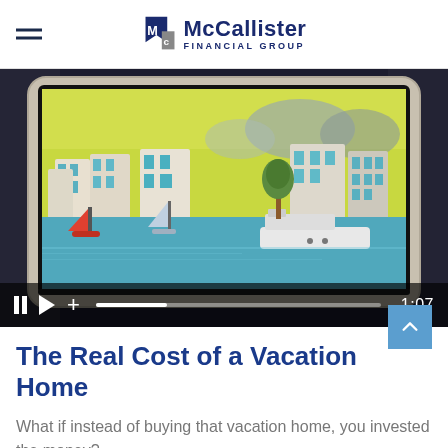McCallister Financial Group
[Figure (screenshot): Video screenshot showing hands holding a tablet displaying an animated coastal vacation scene with white buildings, sailboats, and water. Video player controls show pause, play, and volume buttons with a progress bar and time display of 1:07.]
The Real Cost of a Vacation Home
What if instead of buying that vacation home, you invested the money?